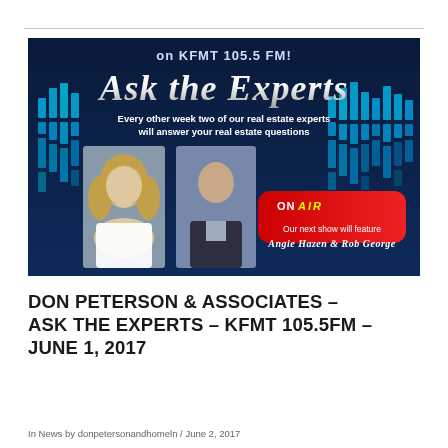[Figure (photo): Radio show promotional banner for 'Ask the Experts on KFMT 105.5 FM'. Dark blue background with cyan equalizer bars. Features stylized 'Ask the Experts' logo text, tagline 'Every other week two of our real estate experts will answer your real estate questions', photos of two professionals (a woman with blonde hair and a man in a suit), a red 'ON AIR' badge, and text 'Our next show will feature Angie Hazen & Rob George'.]
DON PETERSON & ASSOCIATES – ASK THE EXPERTS – KFMT 105.5FM – JUNE 1, 2017
In News by donpetersonandhomeln / June 2, 2017